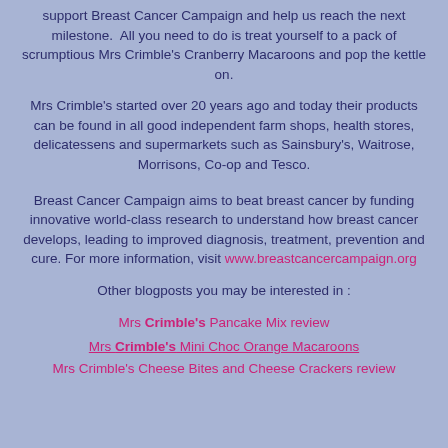support Breast Cancer Campaign and help us reach the next milestone.  All you need to do is treat yourself to a pack of scrumptious Mrs Crimble's Cranberry Macaroons and pop the kettle on.
Mrs Crimble's started over 20 years ago and today their products can be found in all good independent farm shops, health stores, delicatessens and supermarkets such as Sainsbury's, Waitrose, Morrisons, Co-op and Tesco.
Breast Cancer Campaign aims to beat breast cancer by funding innovative world-class research to understand how breast cancer develops, leading to improved diagnosis, treatment, prevention and cure. For more information, visit www.breastcancercampaign.org
Other blogposts you may be interested in :
Mrs Crimble's Pancake Mix review
Mrs Crimble's Mini Choc Orange Macaroons
Mrs Crimble's Cheese Bites and Cheese Crackers review